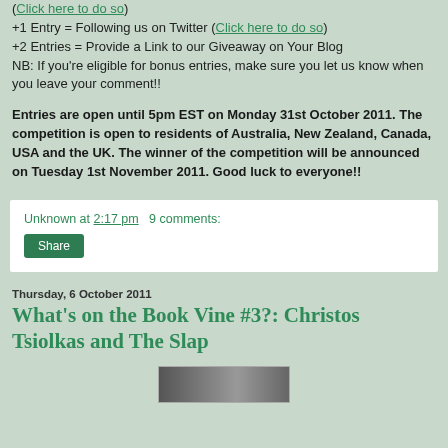(Click here to do so)
+1 Entry = Following us on Twitter (Click here to do so)
+2 Entries = Provide a Link to our Giveaway on Your Blog
NB: If you're eligible for bonus entries, make sure you let us know when you leave your comment!!
Entries are open until 5pm EST on Monday 31st October 2011. The competition is open to residents of Australia, New Zealand, Canada, USA and the UK. The winner of the competition will be announced on Tuesday 1st November 2011. Good luck to everyone!!
Unknown at 2:17 pm   9 comments:
Share
Thursday, 6 October 2011
What's on the Book Vine #3?: Christos Tsiolkas and The Slap
[Figure (photo): A small photo strip/thumbnail image at the bottom of the page]